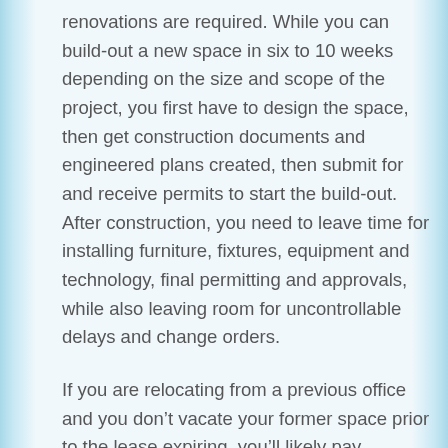renovations are required. While you can build-out a new space in six to 10 weeks depending on the size and scope of the project, you first have to design the space, then get construction documents and engineered plans created, then submit for and receive permits to start the build-out. After construction, you need to leave time for installing furniture, fixtures, equipment and technology, final permitting and approvals, while also leaving room for uncontrollable delays and change orders.
If you are relocating from a previous office and you don't vacate your former space prior to the lease expiring, you'll likely pay between 125 to 200 percent of your last month's rent based on a provision found in most leases called a “holdover.”